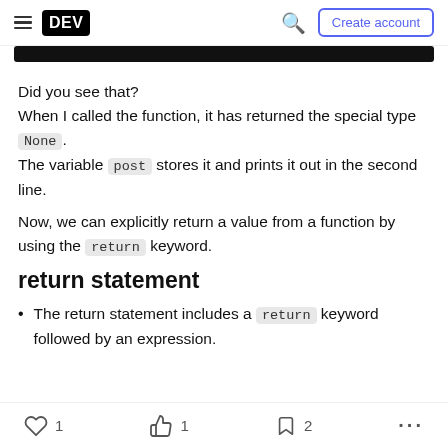DEV | Create account
Did you see that?
When I called the function, it has returned the special type None.
The variable post stores it and prints it out in the second line.
Now, we can explicitly return a value from a function by using the return keyword.
return statement
The return statement includes a return keyword followed by an expression.
1  1  2  ...